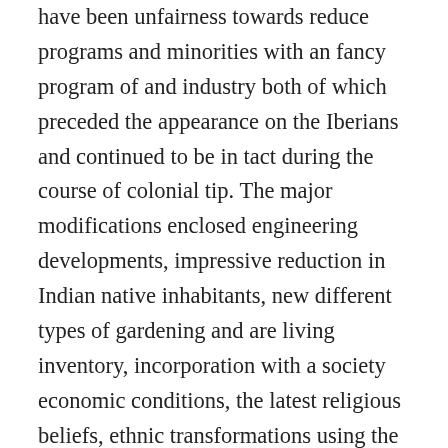have been unfairness towards reduce programs and minorities with an fancy program of and industry both of which preceded the appearance on the Iberians and continued to be in tact during the course of colonial tip. The major modifications enclosed engineering developments, impressive reduction in Indian native inhabitants, new different types of gardening and are living inventory, incorporation with a society economic conditions, the latest religious beliefs, ethnic transformations using the importation of slaves and reduction in governmental. During this essay, I will demonstrate these continuities and improvements by initially detailing the community ahead of the introduction of the Europeans (1325-1492) and upon (1492-1800). The first Latin The states period finished in early 1800s whenever the